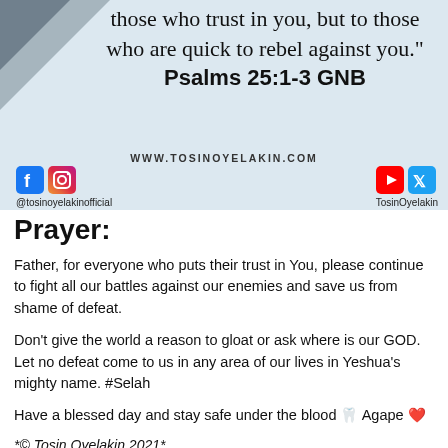[Figure (other): Image block with light blue background, diagonal geometric element at top-left, Bible verse text and social media handles]
Prayer:
Father, for everyone who puts their trust in You, please continue to fight all our battles against our enemies and save us from shame of defeat.
Don't give the world a reason to gloat or ask where is our GOD. Let no defeat come to us in any area of our lives in Yeshua's mighty name. #Selah
Have a blessed day and stay safe under the blood 🩸 Agape ❤️
*© Tosin Oyelakin 2021*